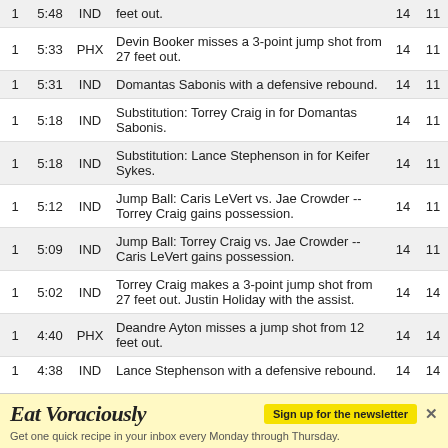| Qtr | Time | Team | Description | IND | PHX |
| --- | --- | --- | --- | --- | --- |
| 1 | 5:48 | IND | feet out. | 14 | 11 |
| 1 | 5:33 | PHX | Devin Booker misses a 3-point jump shot from 27 feet out. | 14 | 11 |
| 1 | 5:31 | IND | Domantas Sabonis with a defensive rebound. | 14 | 11 |
| 1 | 5:18 | IND | Substitution: Torrey Craig in for Domantas Sabonis. | 14 | 11 |
| 1 | 5:18 | IND | Substitution: Lance Stephenson in for Keifer Sykes. | 14 | 11 |
| 1 | 5:12 | IND | Jump Ball: Caris LeVert vs. Jae Crowder -- Torrey Craig gains possession. | 14 | 11 |
| 1 | 5:09 | IND | Jump Ball: Torrey Craig vs. Jae Crowder -- Caris LeVert gains possession. | 14 | 11 |
| 1 | 5:02 | IND | Torrey Craig makes a 3-point jump shot from 27 feet out. Justin Holiday with the assist. | 14 | 14 |
| 1 | 4:40 | PHX | Deandre Ayton misses a jump shot from 12 feet out. | 14 | 14 |
| 1 | 4:38 | IND | Lance Stephenson with a defensive rebound. | 14 | 14 |
| 1 | 4:34 | PHX | Personal foul committed by Jae Crowder. | 14 | 14 |
[Figure (infographic): Advertisement banner: 'Eat Voraciously' newsletter sign-up. Yellow background. Text: 'Sign up for the newsletter'. Subtext: 'Get one quick recipe in your inbox every Monday through Thursday.']